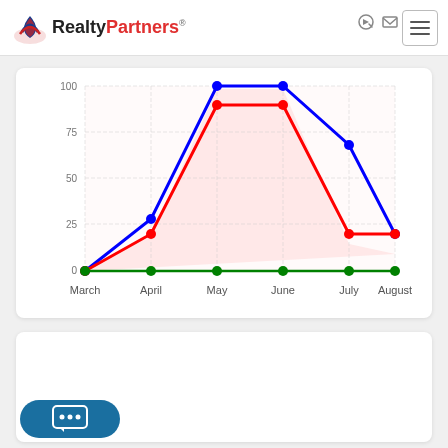RealtyPartners
[Figure (line-chart): ]